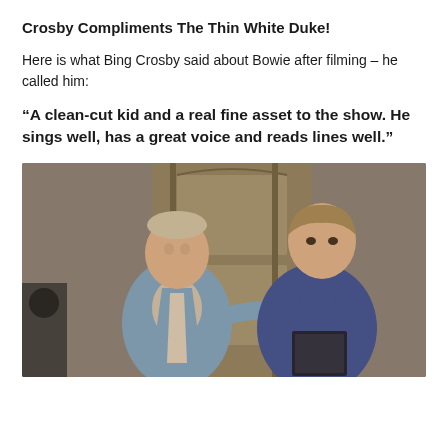Crosby Compliments The Thin White Duke!
Here is what Bing Crosby said about Bowie after filming – he called him:
“A clean-cut kid and a real fine asset to the show. He sings well, has a great voice and reads lines well.”
[Figure (photo): Black and white/slightly colorized vintage TV footage showing two men standing together. The man on the left is older, wearing a light blue cardigan over a collared shirt, with his hand on the shoulder of the younger man on the right. The younger man wears a blue suit jacket and holds a dark book or folder. They appear to be on a set with a wooden door behind them.]